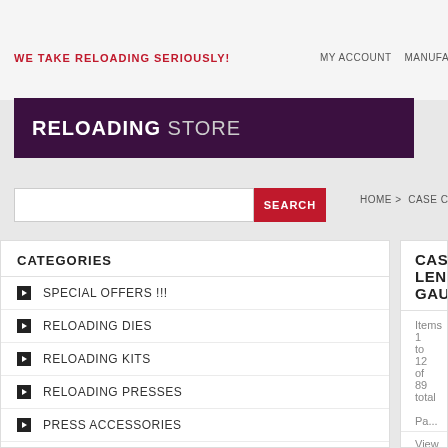WE TAKE RELOADING SERIOUSLY!
MY ACCOUNT   MANUFA...
RELOADING STORE
SEARCH
HOME > CASE CONDITIONING > CASE LENG...
CATEGORIES
SPECIAL OFFERS !!!
RELOADING DIES
RELOADING KITS
RELOADING PRESSES
PRESS ACCESSORIES
POWDER HANDLING
CASE LENGTH GAUGE/HOLDER
Items 1 to 12 of 89 total
View as: Grid  List
[Figure (photo): LEE Case Length Gauge & Shell Holder product packaging — red and white box with LEE logo, barcode, and label reading CASE LENGTH GAUGE & SHELL HOLDER]